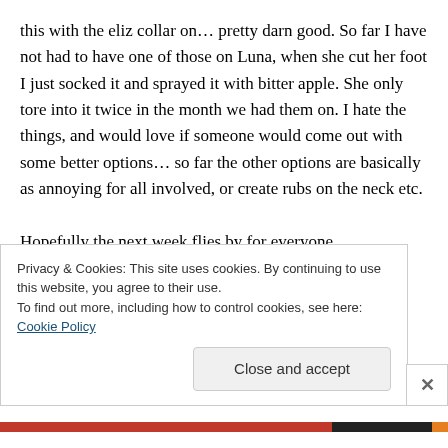this with the eliz collar on… pretty darn good. So far I have not had to have one of those on Luna, when she cut her foot I just socked it and sprayed it with bitter apple. She only tore into it twice in the month we had them on. I hate the things, and would love if someone would come out with some better options… so far the other options are basically as annoying for all involved, or create rubs on the neck etc.
Hopefully the next week flies by for everyone,
Privacy & Cookies: This site uses cookies. By continuing to use this website, you agree to their use.
To find out more, including how to control cookies, see here: Cookie Policy
Close and accept